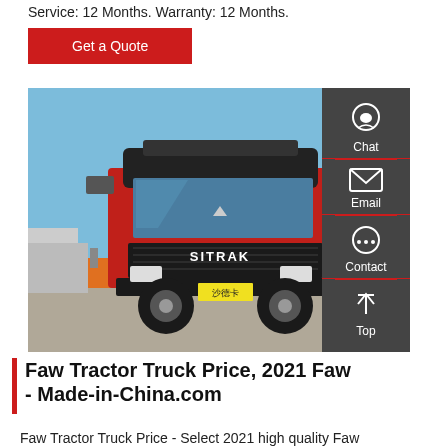Service: 12 Months. Warranty: 12 Months.
Get a Quote
[Figure (photo): Front view of a red SITRAK tractor truck in a yard with forklifts and green trucks in the background. The truck has Chinese license plate characters on the front bumper.]
Faw Tractor Truck Price, 2021 Faw - Made-in-China.com
Faw Tractor Truck Price - Select 2021 high quality Faw